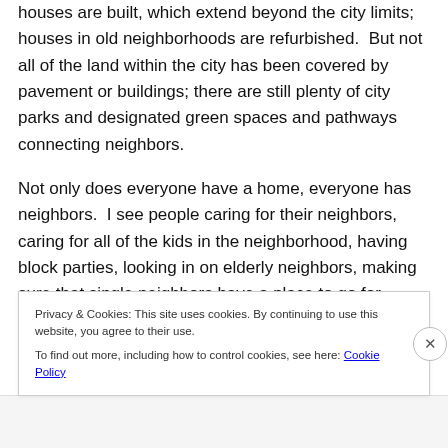houses are built, which extend beyond the city limits; houses in old neighborhoods are refurbished. But not all of the land within the city has been covered by pavement or buildings; there are still plenty of city parks and designated green spaces and pathways connecting neighbors.
Not only does everyone have a home, everyone has neighbors. I see people caring for their neighbors, caring for all of the kids in the neighborhood, having block parties, looking in on elderly neighbors, making sure that single neighbors have a place to go for Thanksgiving. We
Privacy & Cookies: This site uses cookies. By continuing to use this website, you agree to their use.
To find out more, including how to control cookies, see here: Cookie Policy